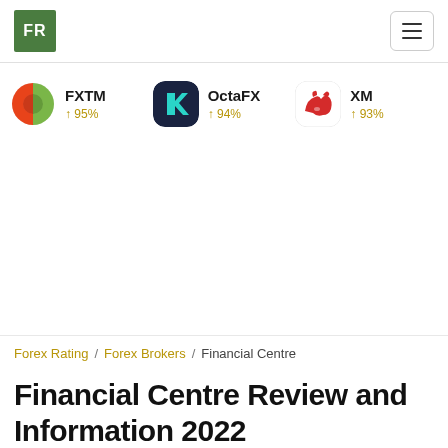FR
[Figure (logo): FXTM broker logo - orange and green circular icon]
FXTM ↑ 95%
[Figure (logo): OctaFX broker logo - dark blue rounded square with teal K symbol]
OctaFX ↑ 94%
[Figure (logo): XM broker logo - red animal icon on white background]
XM ↑ 93%
Forex Rating / Forex Brokers / Financial Centre
Financial Centre Review and Information 2022